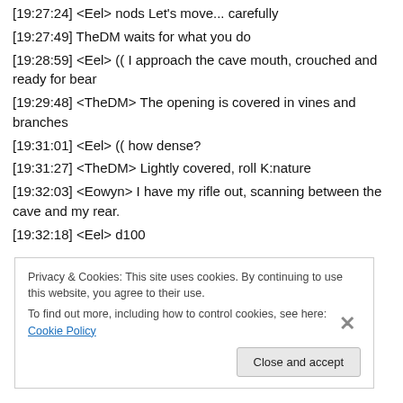[19:27:24] <Eel> nods  Let's move... carefully
[19:27:49] TheDM waits for what you do
[19:28:59] <Eel> (( I approach the cave mouth, crouched and ready for bear
[19:29:48] <TheDM> The opening is covered in vines and branches
[19:31:01] <Eel> (( how dense?
[19:31:27] <TheDM> Lightly covered, roll K:nature
[19:32:03] <Eowyn> I have my rifle out, scanning between the cave and my rear.
[19:32:18] <Eel> d100
Privacy & Cookies: This site uses cookies. By continuing to use this website, you agree to their use.
To find out more, including how to control cookies, see here: Cookie Policy